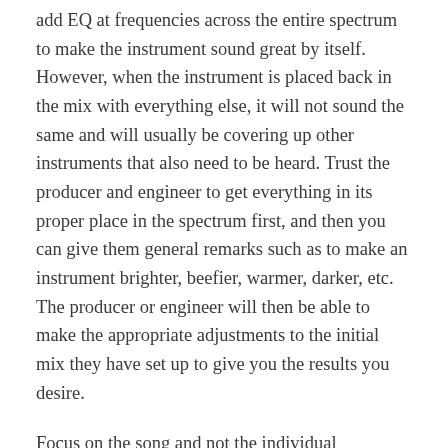add EQ at frequencies across the entire spectrum to make the instrument sound great by itself. However, when the instrument is placed back in the mix with everything else, it will not sound the same and will usually be covering up other instruments that also need to be heard. Trust the producer and engineer to get everything in its proper place in the spectrum first, and then you can give them general remarks such as to make an instrument brighter, beefier, warmer, darker, etc. The producer or engineer will then be able to make the appropriate adjustments to the initial mix they have set up to give you the results you desire.
Focus on the song and not the individual instruments. Decide what is most important in each song and make sure that all the parts support the focal point of the song. Most inexperienced band